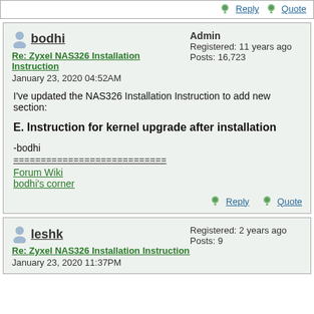Reply  Quote
bodhi
Re: Zyxel NAS326 Installation Instruction
January 23, 2020 04:52AM
Admin
Registered: 11 years ago
Posts: 16,723
I've updated the NAS326 Installation Instruction to add new section:
E. Instruction for kernel upgrade after installation
-bodhi
============================
Forum Wiki
bodhi's corner
Reply  Quote
leshk
Re: Zyxel NAS326 Installation Instruction
January 23, 2020 11:37PM
Registered: 2 years ago
Posts: 9